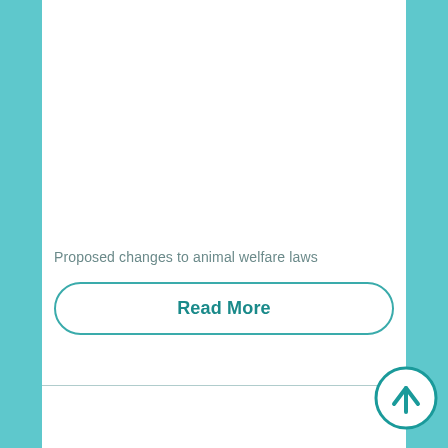Proposed changes to animal welfare laws
Read More
[Figure (illustration): Faint ghost/watermark style illustration of animals, partially visible in the lower card section]
[Figure (other): Circular scroll-to-top button with upward arrow, teal outline, bottom-right corner]